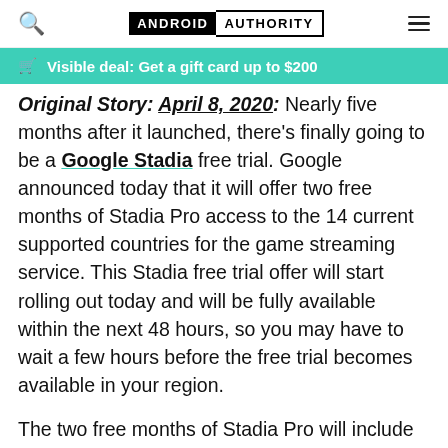ANDROID AUTHORITY
Visible deal: Get a gift card up to $200
Original Story: April 8, 2020. Nearly five months after it launched, there’s finally going to be a Google Stadia free trial. Google announced today that it will offer two free months of Stadia Pro access to the 14 current supported countries for the game streaming service. This Stadia free trial offer will start rolling out today and will be fully available within the next 48 hours, so you may have to wait a few hours before the free trial becomes available in your region.

The two free months of Stadia Pro will include free access to nine games, including: